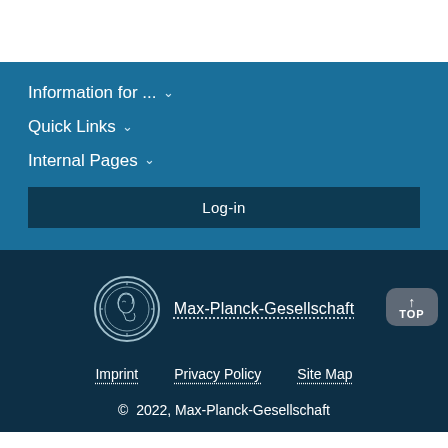Information for ... ∨
Quick Links ∨
Internal Pages ∨
Log-in
[Figure (logo): Max-Planck-Gesellschaft circular medallion logo with figure profile]
Max-Planck-Gesellschaft
Imprint   Privacy Policy   Site Map
© 2022, Max-Planck-Gesellschaft